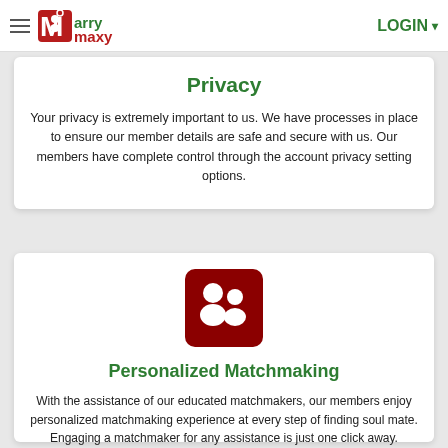MarryMaxy LOGIN
Privacy
Your privacy is extremely important to us. We have processes in place to ensure our member details are safe and secure with us. Our members have complete control through the account privacy setting options.
[Figure (illustration): Dark red square icon with two white person silhouettes representing matchmaking/group]
Personalized Matchmaking
With the assistance of our educated matchmakers, our members enjoy personalized matchmaking experience at every step of finding soul mate. Engaging a matchmaker for any assistance is just one click away.